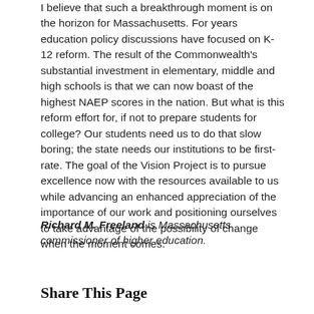I believe that such a breakthrough moment is on the horizon for Massachusetts. For years education policy discussions have focused on K-12 reform. The result of the Commonwealth's substantial investment in elementary, middle and high schools is that we can now boast of the highest NAEP scores in the nation. But what is this reform effort for, if not to prepare students for college? Our students need us to do that slow boring; the state needs our institutions to be first-rate. The goal of the Vision Project is to pursue excellence now with the resources available to us while advancing an enhanced appreciation of the importance of our work and positioning ourselves to take advantage of the possibility of change when the moment comes.
Richard M. Freeland is Massachusetts commissioner of higher education.
Share This Page